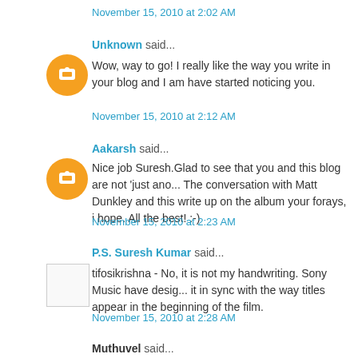November 15, 2010 at 2:02 AM
Unknown said...
Wow, way to go! I really like the way you write in your blog and I am have started noticing you.
November 15, 2010 at 2:12 AM
Aakarsh said...
Nice job Suresh.Glad to see that you and this blog are not 'just ano... The conversation with Matt Dunkley and this write up on the album your forays, i hope. All the best! :-)
November 15, 2010 at 2:23 AM
P.S. Suresh Kumar said...
tifosikrishna - No, it is not my handwriting. Sony Music have desig... it in sync with the way titles appear in the beginning of the film.
November 15, 2010 at 2:28 AM
Muthuvel said...